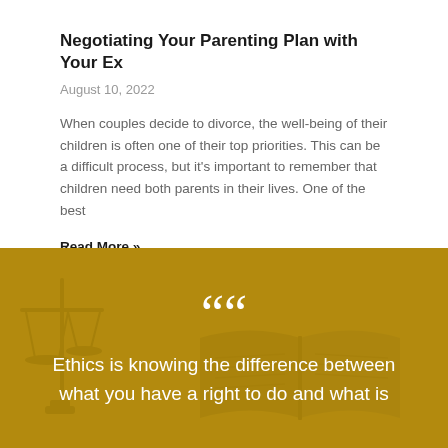Negotiating Your Parenting Plan with Your Ex
August 10, 2022
When couples decide to divorce, the well-being of their children is often one of their top priorities. This can be a difficult process, but it's important to remember that children need both parents in their lives. One of the best
Read More »
[Figure (illustration): Gold/dark-yellow background with faded images of scales of justice and an open book, with large white quotation mark icon and partial quote text: Ethics is knowing the difference between what you have a right to do and what is]
Ethics is knowing the difference between what you have a right to do and what is